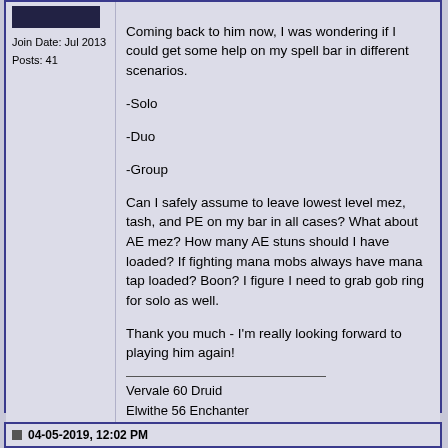[Figure (other): User avatar image, dark/black rectangle]
Join Date: Jul 2013
Posts: 41
Coming back to him now, I was wondering if I could get some help on my spell bar in different scenarios.

-Solo

-Duo

-Group

Can I safely assume to leave lowest level mez, tash, and PE on my bar in all cases? What about AE mez? How many AE stuns should I have loaded? If fighting mana mobs always have mana tap loaded? Boon? I figure I need to grab gob ring for solo as well.

Thank you much - I'm really looking forward to playing him again!
Vervale 60 Druid
Elwithe 56 Enchanter
04-05-2019, 12:02 PM